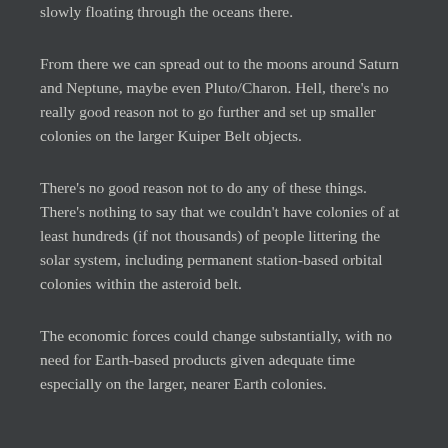slowly floating through the oceans there.
From there we can spread out to the moons around Saturn and Neptune, maybe even Pluto/Charon. Hell, there's no really good reason not to go further and set up smaller colonies on the larger Kuiper Belt objects.
There's no good reason not to do any of these things. There's nothing to say that we couldn't have colonies of at least hundreds (if not thousands) of people littering the solar system, including permanent station-based orbital colonies within the asteroid belt.
The economic forces could change substantially, with no need for Earth-based products given adequate time especially on the larger, nearer Earth colonies.